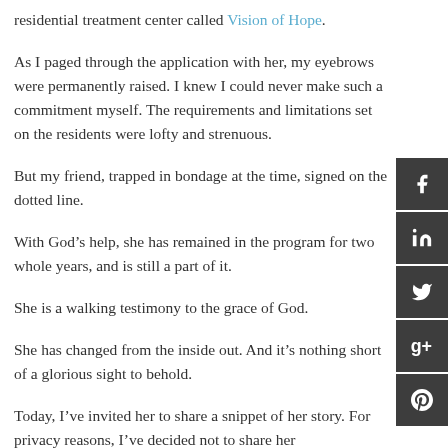residential treatment center called Vision of Hope.
As I paged through the application with her, my eyebrows were permanently raised. I knew I could never make such a commitment myself. The requirements and limitations set on the residents were lofty and strenuous.
But my friend, trapped in bondage at the time, signed on the dotted line.
With God’s help, she has remained in the program for two whole years, and is still a part of it.
She is a walking testimony to the grace of God.
She has changed from the inside out. And it’s nothing short of a glorious sight to behold.
Today, I’ve invited her to share a snippet of her story. For privacy reasons, I’ve decided not to share her